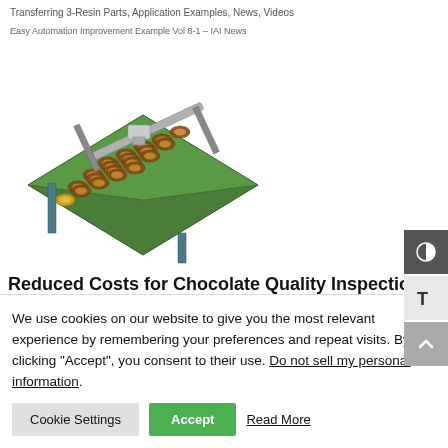Transferring 3-Resin Parts, Application Examples, News, Videos
Easy Automation Improvement Example Vol 8-1 – IAI News
[Figure (illustration): 3D isometric illustration of an automated conveyor/inspection system for chocolates on a green circuit-board-like tray with a robotic gantry arm]
Reduced Costs for Chocolate Quality Inspection
0-1-Conveyor, 0-1-Inspection & Test, 0-Food, 1-Inspection, 2-
We use cookies on our website to give you the most relevant experience by remembering your preferences and repeat visits. By clicking "Accept", you consent to their use. Do not sell my personal information.
Cookie Settings   Accept   Read More